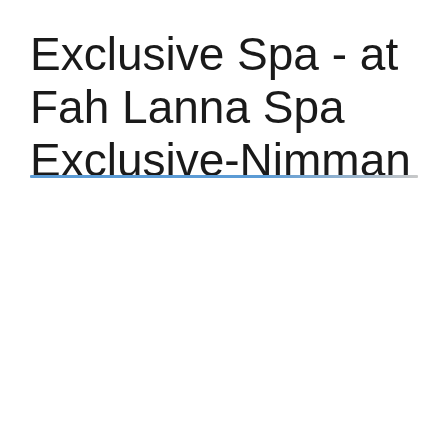Exclusive Spa - at Fah Lanna Spa Exclusive-Nimman